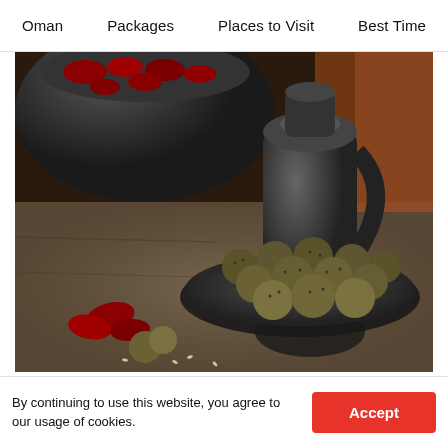Oman   Packages   Places to Visit   Best Time
[Figure (photo): Dark rustic stone plate piled with sesame-coated date balls (a traditional Omani sweet), with a few dates and broken pieces on a stone surface in the foreground, and a dark clay pot filled with dates and a dark ceramic jug in the background.]
Source
By continuing to use this website, you agree to our usage of cookies.